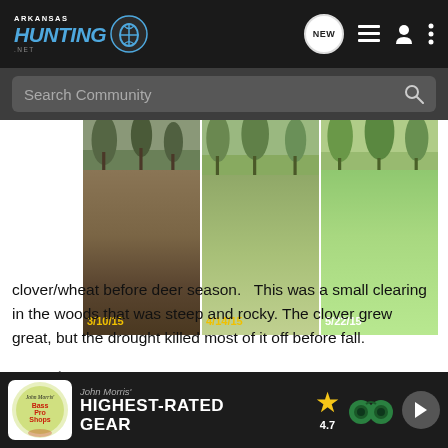Arkansas Hunting .net — Search Community
[Figure (photo): Three side-by-side photos of a field/clearing showing plant growth progression dated 3/10/15, 4/14/15, and 5/22/15]
clover/wheat before deer season.  This was a small clearing in the woods that was steep and rocky. The clover grew great, but the drought killed most of it off before fall.
Attachments
[Figure (photo): Thumbnail photo of a clearing in the woods]
[Figure (advertisement): Bass Pro Shops ad — HIGHEST-RATED GEAR — rating 4.7 stars]